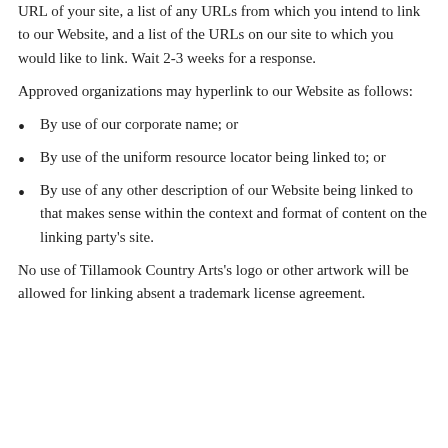URL of your site, a list of any URLs from which you intend to link to our Website, and a list of the URLs on our site to which you would like to link. Wait 2-3 weeks for a response.
Approved organizations may hyperlink to our Website as follows:
By use of our corporate name; or
By use of the uniform resource locator being linked to; or
By use of any other description of our Website being linked to that makes sense within the context and format of content on the linking party's site.
No use of Tillamook Country Arts's logo or other artwork will be allowed for linking absent a trademark license agreement.